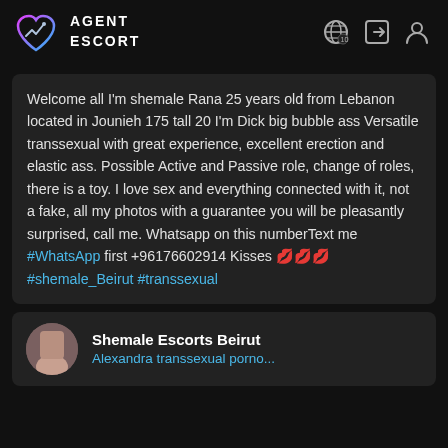AGENT ESCORT
Welcome all I'm shemale Rana 25 years old from Lebanon located in Jounieh 175 tall 20 I'm Dick big bubble ass Versatile transsexual with great experience, excellent erection and elastic ass. Possible Active and Passive role, change of roles, there is a toy. I love sex and everything connected with it, not a fake, all my photos with a guarantee you will be pleasantly surprised, call me. Whatsapp on this numberText me #WhatsApp first +96176602914 Kisses 💋💋💋 #shemale_Beirut #transsexual
Shemale Escorts Beirut
Alexandra transsexual porno...